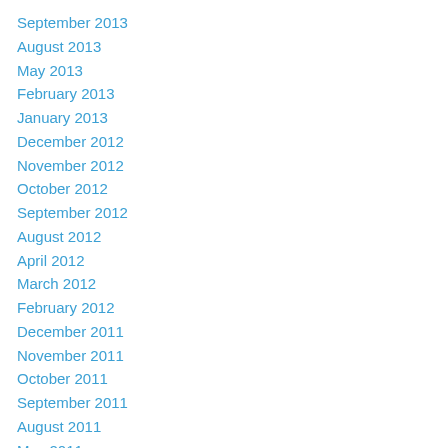September 2013
August 2013
May 2013
February 2013
January 2013
December 2012
November 2012
October 2012
September 2012
August 2012
April 2012
March 2012
February 2012
December 2011
November 2011
October 2011
September 2011
August 2011
May 2011
April 2011